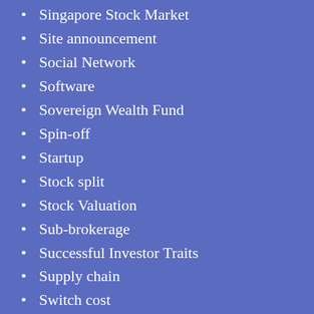Singapore Stock Market
Site announcement
Social Network
Software
Sovereign Wealth Fund
Spin-off
Startup
Stock split
Stock Valuation
Sub-brokerage
Successful Investor Traits
Supply chain
Switch cost
Taiwan Stock Market
Telecom
Temperament
Thinking